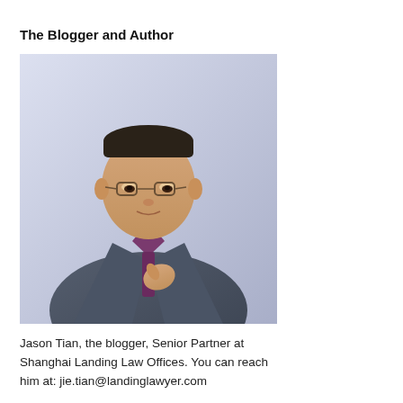The Blogger and Author
[Figure (photo): Professional headshot of Jason Tian, a middle-aged Asian man wearing glasses, a purple shirt, and a dark grey suit jacket, adjusting his collar/tie, against a light blue-grey background.]
Jason Tian, the blogger, Senior Partner at Shanghai Landing Law Offices. You can reach him at: jie.tian@landinglawyer.com